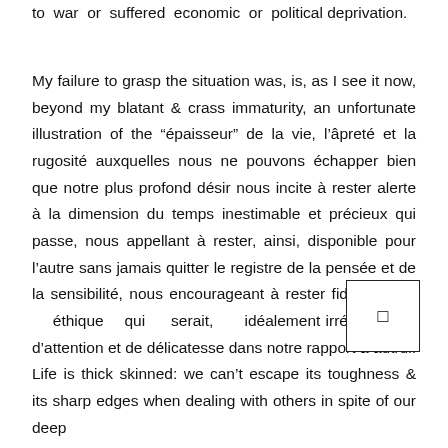to war or suffered economic or political deprivation.
My failure to grasp the situation was, is, as I see it now, beyond my blatant & crass immaturity, an unfortunate illustration of the “épaisseur” de la vie, l’âpreté et la rugosité auxquelles nous ne pouvons échapper bien que notre plus profond désir nous incite à rester alerte à la dimension du temps inestimable et précieux qui passe, nous appellant à rester, ainsi, disponible pour l’autre sans jamais quitter le registre de la pensée et de la sensibilité, nous encourageant à rester fidèle à une éthique qui serait, idéalement irréprochable d’attention et de délicatesse dans notre rapport à autrui. Life is thick skinned: we can’t escape its toughness & its sharp edges when dealing with others in spite of our deep